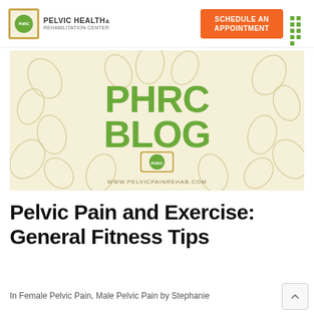PELVIC HEALTH & REHABILITATION CENTER | SCHEDULE AN APPOINTMENT
[Figure (illustration): PHRC Blog banner image with cream background, decorative leaf/floral watermarks, bold green text reading 'PHRC BLOG', a green circular logo, and URL www.pelvicpainrehab.com]
Pelvic Pain and Exercise: General Fitness Tips
In Female Pelvic Pain, Male Pelvic Pain by Stephanie